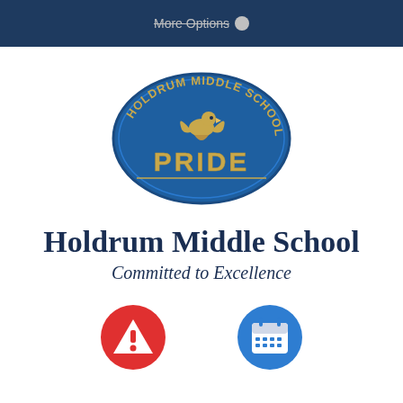More Options
[Figure (logo): Holdrum Middle School oval logo in blue and gold with an eagle and the word PRIDE]
Holdrum Middle School
Committed to Excellence
[Figure (infographic): Two circular icon buttons: a red circle with a white warning triangle/exclamation icon, and a blue circle with a white calendar grid icon]